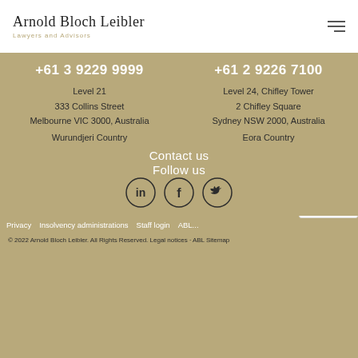Arnold Bloch Leibler — Lawyers and Advisors
+61 3 9229 9999
+61 2 9226 7100
Level 21
333 Collins Street
Melbourne VIC 3000, Australia
Level 24, Chifley Tower
2 Chifley Square
Sydney NSW 2000, Australia
Wurundjeri Country
Eora Country
Contact us
Follow us
[Figure (illustration): Three circular social media icons: LinkedIn (in), Facebook (f), Twitter (bird)]
Privacy   Insolvency administrations   Staff login   ABL   Sitemap
© 2022 Arnold Bloch Leibler. All Rights Reserved.  Legal notices · ABL Sitemap